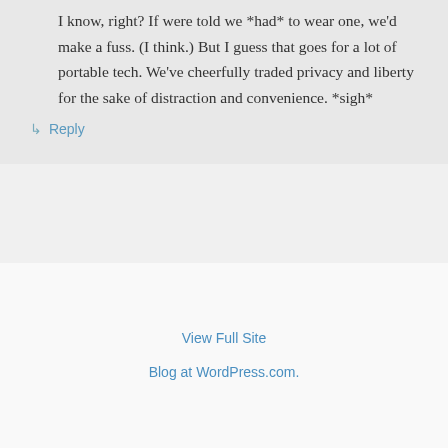I know, right? If were told we *had* to wear one, we'd make a fuss. (I think.) But I guess that goes for a lot of portable tech. We've cheerfully traded privacy and liberty for the sake of distraction and convenience. *sigh*
↳ Reply
View Full Site
Blog at WordPress.com.